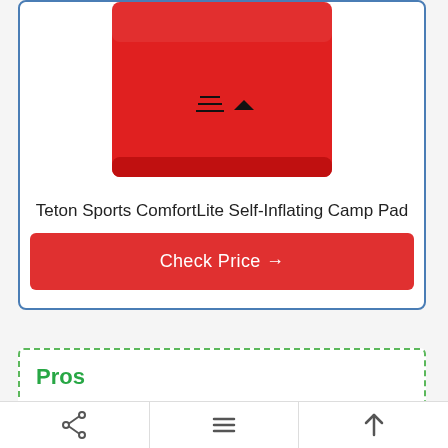[Figure (photo): Red self-inflating camping sleeping pad / mat (Teton Sports ComfortLite) viewed from top, with logo/symbol on surface]
Teton Sports ComfortLite Self-Inflating Camp Pad
Check Price →
Pros
Durable and versatile 4-season sleeping mat
[Figure (infographic): Bottom navigation bar with share icon, hamburger menu icon, and up arrow icon]